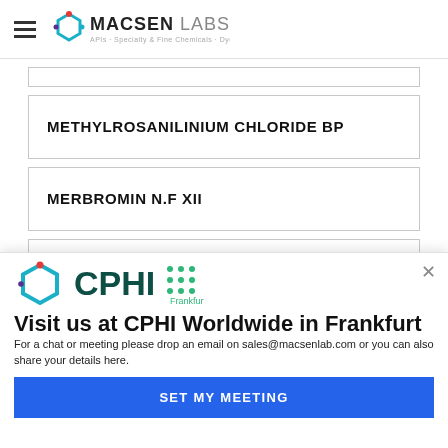Macsen Labs - APIs, Specialty & Fine Chemicals, Dyes
METHYLROSANILINIUM CHLORIDE BP
MERBROMIN N.F XII
[Figure (logo): CPHI Frankfurt logo with hexagon icon and dot-grid pattern]
Visit us at CPHI Worldwide in Frankfurt
For a chat or meeting please drop an email on sales@macsenlab.com or you can also share your details here.
SET MY MEETING